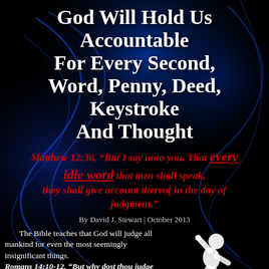God Will Hold Us Accountable For Every Second, Word, Penny, Deed, Keystroke And Thought
Matthew 12:36, “But I say unto you, That every idle word that men shall speak, they shall give account thereof in the day of judgment.”
By David J. Stewart | October 2013
The Bible teaches that God will judge all mankind for even the most seemingly insignificant things. Romans 14:10-12, “But why dost thou judge thy brother? or why dost thou set at nought thy brother? for we shall all stand before the judgment seat of Christ.”
[Figure (illustration): White silhouette of a person in a kneeling or crouching martial arts or worship pose on black background]